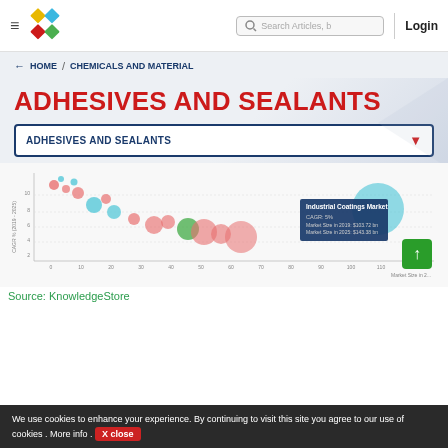Navigation bar with logo, search, and login
← HOME / CHEMICALS AND MATERIAL
ADHESIVES AND SEALANTS
ADHESIVES AND SEALANTS (dropdown)
[Figure (bubble-chart): Bubble scatter chart showing market data for various chemical markets including Industrial Coatings Market with tooltip showing CAGR: 5%, Market Size in 2019: $103.72 bn, Market Size in 2025: $143.38 bn]
Source: KnowledgeStore
We use cookies to enhance your experience. By continuing to visit this site you agree to our use of cookies . More info . X close